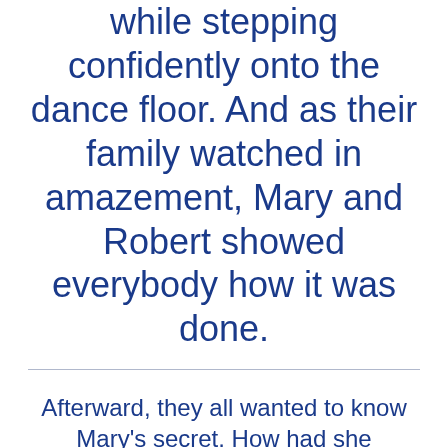while stepping confidently onto the dance floor. And as their family watched in amazement, Mary and Robert showed everybody how it was done.
Afterward, they all wanted to know Mary's secret. How had she transformed her knees from can't to can?
“It’s simple,” Mary told everyone who asked. “I limped into the